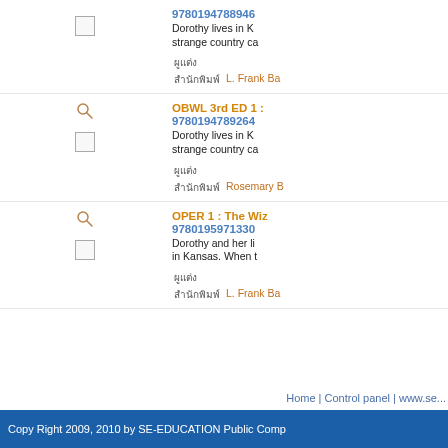9780194788946 — Dorothy lives in K... strange country ca...
ผู้แต่ง: L. Frank Ba...
OBWL 3rd ED 1 : ... 9780194789264 — Dorothy lives in K... strange country ca...
ผู้แต่ง: Rosemary B...
OPER 1 : The Wiz... 9780195971330 — Dorothy and her li... in Kansas. When t...
ผู้แต่ง: L. Frank Ba...
Home | Control panel | www.se...
Copy Right 2009, 2010 by SE-EDUCATION Public Comp...